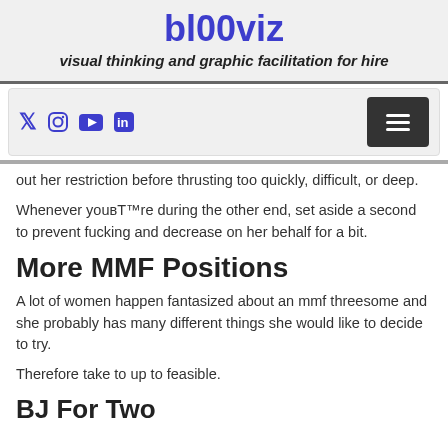bl00viz
visual thinking and graphic facilitation for hire
[Figure (other): Navigation bar with social media icons (Twitter, Instagram, YouTube, LinkedIn) and a hamburger menu button]
out her restriction before thrusting too quickly, difficult, or deep.
Whenever youвЂ™re during the other end, set aside a second to prevent fucking and decrease on her behalf for a bit.
More MMF Positions
A lot of women happen fantasized about an mmf threesome and she probably has many different things she would like to decide to try.
Therefore take to up to feasible.
BJ For Two